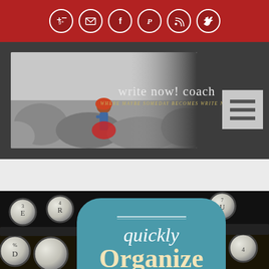Social icons bar with: Google+, Email, Facebook, Pinterest, RSS, Twitter
[Figure (screenshot): Write Now! Coach website header banner with logo text and tagline 'WHERE MAYBE SOMEDAY BECOMES write now' on dark grey background with woman sitting on rocks image]
[Figure (infographic): Typewriter keys background image with teal rounded rectangle overlay containing text: 'quickly Organize Your Office']